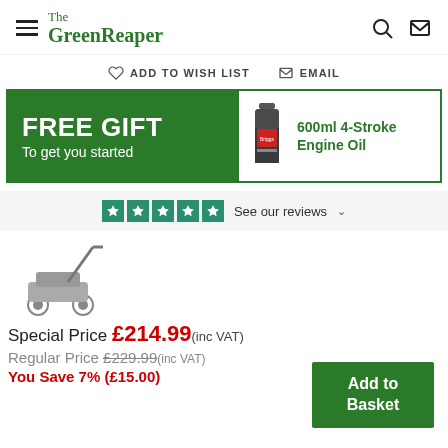The GreenReaper
ADD TO WISH LIST   EMAIL
[Figure (infographic): FREE GIFT To get you started - 600ml 4-Stroke Engine Oil banner with green background on left and product image on right]
★★★★★ See our reviews ∨
[Figure (photo): Push lawn mower product image]
Special Price £214.99(inc VAT)
Regular Price £229.99(inc VAT)
You Save 7% (£15.00)
Add to Basket